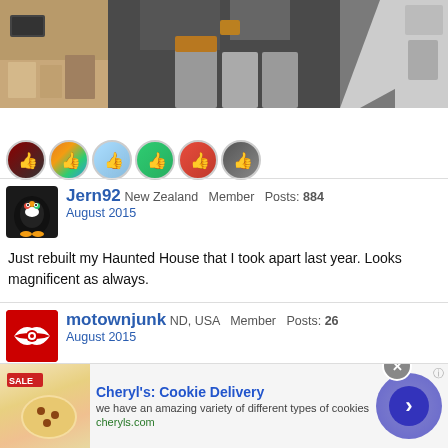[Figure (photo): Room with storage bins containing colorful objects on tables and shelves, bright light visible on right side]
[Figure (infographic): Six reaction/like icons in circular frames showing thumbs up with various colorful backgrounds]
Jern92 New Zealand Member Posts: 884
August 2015
Just rebuilt my Haunted House that I took apart last year. Looks magnificent as always.
motownjunk ND, USA Member Posts: 26
August 2015
[Figure (infographic): Advertisement for Cheryl's Cookie Delivery: 'we have an amazing variety of different types of cookies' cheryls.com with cookie image and arrow button]